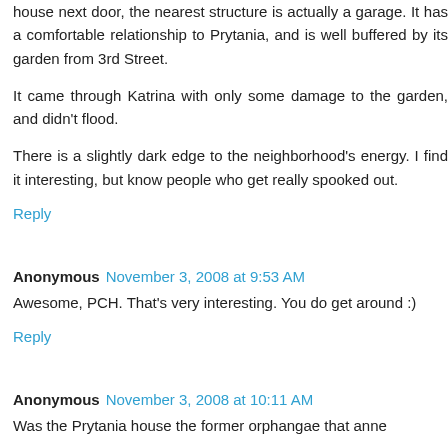house next door, the nearest structure is actually a garage. It has a comfortable relationship to Prytania, and is well buffered by its garden from 3rd Street.
It came through Katrina with only some damage to the garden, and didn't flood.
There is a slightly dark edge to the neighborhood's energy. I find it interesting, but know people who get really spooked out.
Reply
Anonymous November 3, 2008 at 9:53 AM
Awesome, PCH. That's very interesting. You do get around :)
Reply
Anonymous November 3, 2008 at 10:11 AM
Was the Prytania house the former orphangae that anne